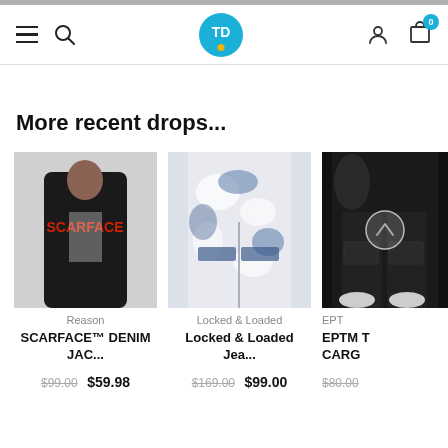[Figure (screenshot): Mobile e-commerce app navigation bar with hamburger menu, search icon, TD logo in teal circle, user icon, and cart icon with 0 badge]
More recent drops...
[Figure (photo): Man wearing black Scarface denim jacket with red lettering]
Reason
SCARFACE™ DENIM JAC...
$99.00  $59.98
[Figure (photo): Bleach tie-dye ripped jeans in blue and white]
Locked & Loaded
Locked & Loaded Jea...
$169.00  $99.00
[Figure (photo): Partial view of black EPTM cargo pants on model]
EPTM
EPTM T CARG
$80.00